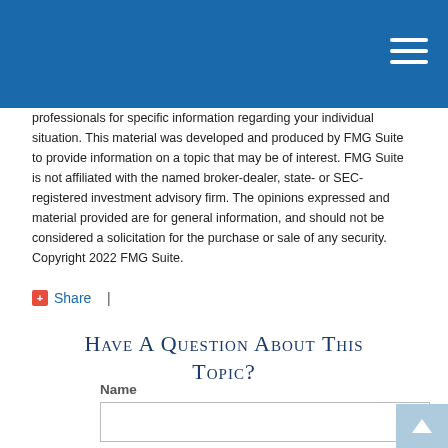professionals for specific information regarding your individual situation. This material was developed and produced by FMG Suite to provide information on a topic that may be of interest. FMG Suite is not affiliated with the named broker-dealer, state- or SEC-registered investment advisory firm. The opinions expressed and material provided are for general information, and should not be considered a solicitation for the purchase or sale of any security. Copyright 2022 FMG Suite.
Share  |
Have A Question About This Topic?
Name